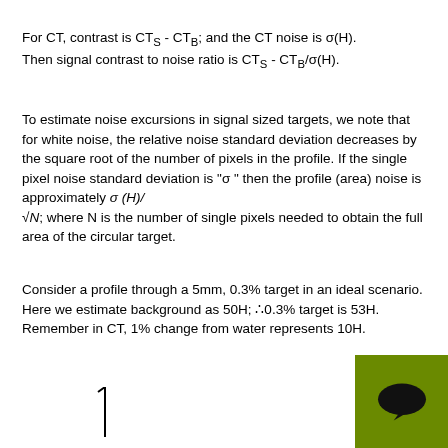For CT, contrast is CT_S - CT_B; and the CT noise is σ(H). Then signal contrast to noise ratio is CT_S - CT_B/σ(H).
To estimate noise excursions in signal sized targets, we note that for white noise, the relative noise standard deviation decreases by the square root of the number of pixels in the profile. If the single pixel noise standard deviation is "σ" then the profile (area) noise is approximately σ (H)/√N; where N is the number of single pixels needed to obtain the full area of the circular target.
Consider a profile through a 5mm, 0.3% target in an ideal scenario. Here we estimate background as 50H; ∴0.3% target is 53H. Remember in CT, 1% change from water represents 10H.
[Figure (other): Partial diagram with a vertical line visible at bottom left of page]